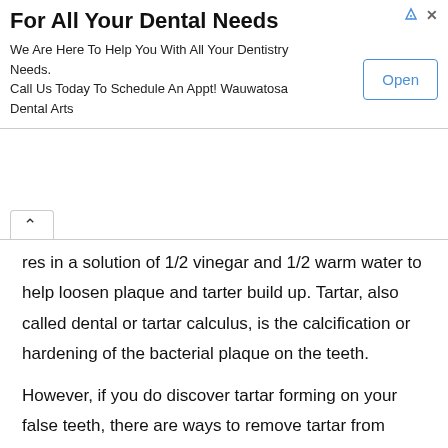[Figure (other): Advertisement banner for Wauwatosa Dental Arts with title 'For All Your Dental Needs', body text 'We Are Here To Help You With All Your Dentistry Needs. Call Us Today To Schedule An Appt! Wauwatosa Dental Arts', and an 'Open' button.]
res in a solution of 1/2 vinegar and 1/2 warm water to help loosen plaque and tarter build up. Tartar, also called dental or tartar calculus, is the calcification or hardening of the bacterial plaque on the teeth.
However, if you do discover tartar forming on your false teeth, there are ways to remove tartar from dentures. Let the juice stand on your teeth for about 5 minutes to soften the buildup, then rinse your mouth with baking soda and warm water for a bright, shiny smile. After soaking, the tartar will soften and can then be removed by brushing.
Your best bet is not to let tartar form on your teeth. This looks like a hard, rough, tan or beige accretion on the denture. Many people